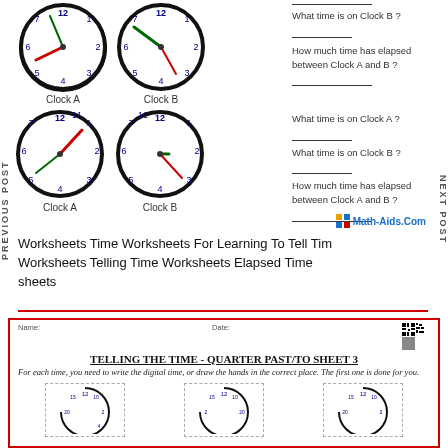[Figure (illustration): Two analog clocks (Clock A and Clock B) in the top row for an elapsed time worksheet exercise]
What time is on Clock B ? ___
How much time has elapsed between Clock A and B ? ___
[Figure (illustration): Two analog clocks (Clock A and Clock B) in the second row for an elapsed time worksheet exercise]
What time is on Clock A ? ___
What time is on Clock B ? ___
How much time has elapsed between Clock A and B ? ___
Math-Aids.Com
PREVIOUS POST
NEXT POST
Worksheets Time Worksheets For Learning To Tell Time Worksheets Telling Time Worksheets Elapsed Time sheets
TELLING THE TIME - QUARTER PAST/TO SHEET 3
For each time, you need to write the digital time, or draw the hands in the correct place. The first one is done for you.
[Figure (illustration): Three partial analog clock faces at the bottom of the page]